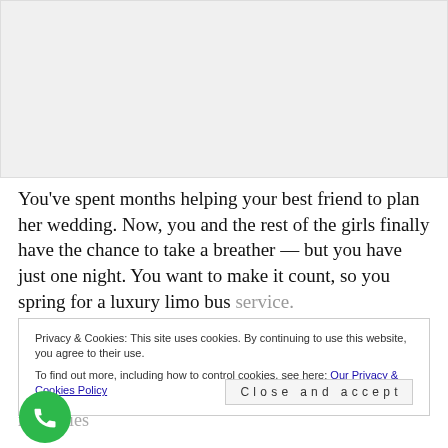[Figure (photo): Gray placeholder image area at the top of the page]
You've spent months helping your best friend to plan her wedding. Now, you and the rest of the girls finally have the chance to take a breather — but you have just one night. You want to make it count, so you spring for a luxury limo bus service.
Privacy & Cookies: This site uses cookies. By continuing to use this website, you agree to their use.
To find out more, including how to control cookies, see here: Our Privacy & Cookies Policy
A party bus service is the perfect addition to any bachelorette party. If your party doesn't have one lined up,
you're losing out on incredible fun — and amazing memories